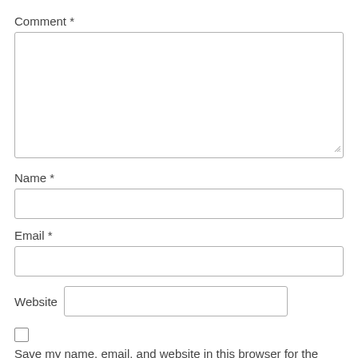Comment *
[Figure (other): Large empty textarea input field for comment]
Name *
[Figure (other): Single-line text input field for name]
Email *
[Figure (other): Single-line text input field for email]
Website
[Figure (other): Single-line text input field for website]
[Figure (other): Checkbox (unchecked)]
Save my name, email, and website in this browser for the